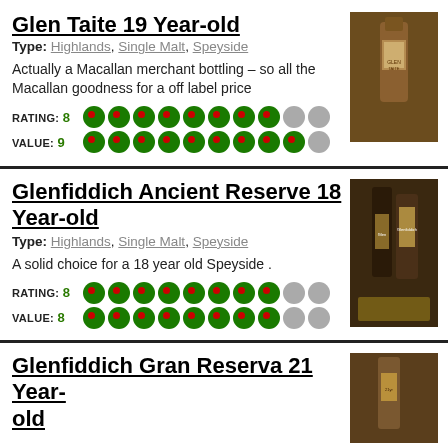Glen Taite 19 Year-old
Type: Highlands, Single Malt, Speyside
Actually a Macallan merchant bottling – so all the Macallan goodness for a off label price
RATING: 8
VALUE: 9
[Figure (photo): Photo of Glen Taite whisky bottle in dark wooden display]
Glenfiddich Ancient Reserve 18 Year-old
Type: Highlands, Single Malt, Speyside
A solid choice for a 18 year old Speyside .
RATING: 8
VALUE: 8
[Figure (photo): Photo of Glenfiddich Ancient Reserve bottle in dark box]
Glenfiddich Gran Reserva 21 Year-old